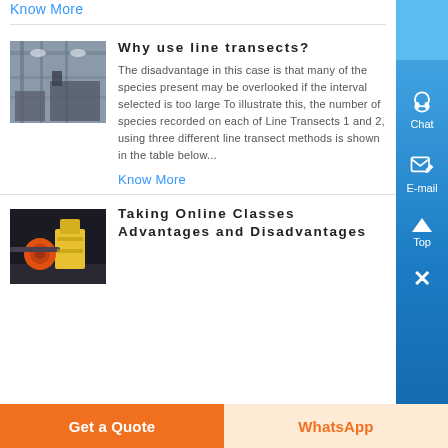Know More
Why use line transects?
[Figure (photo): Industrial machinery or factory interior, grayish tones]
The disadvantage in this case is that many of the species present may be overlooked if the interval selected is too large To illustrate this, the number of species recorded on each of Line Transects 1 and 2, using three different line transect methods is shown in the table below...
Know More
Taking Online Classes Advantages and Disadvantages
[Figure (photo): Industrial machinery with orange and yellow equipment]
Get a Quote
WhatsApp